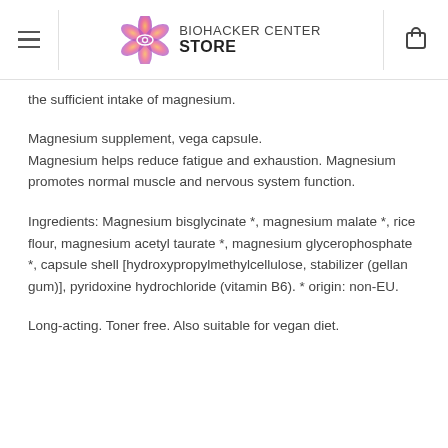BIOHACKER CENTER STORE
the sufficient intake of magnesium.
Magnesium supplement, vega capsule. Magnesium helps reduce fatigue and exhaustion. Magnesium promotes normal muscle and nervous system function.
Ingredients: Magnesium bisglycinate *, magnesium malate *, rice flour, magnesium acetyl taurate *, magnesium glycerophosphate *, capsule shell [hydroxypropylmethylcellulose, stabilizer (gellan gum)], pyridoxine hydrochloride (vitamin B6). * origin: non-EU.
Long-acting. Toner free. Also suitable for vegan diet.